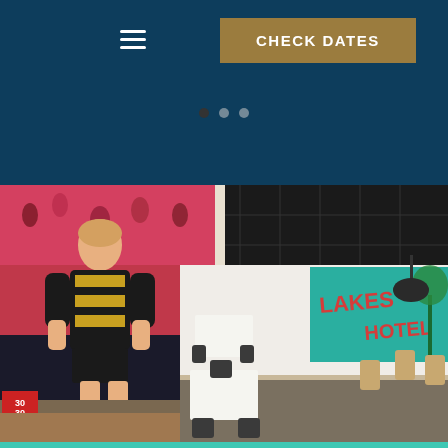[Figure (screenshot): Dark teal/navy header bar with hamburger menu icon on left and a tan/gold 'CHECK DATES' button on right, three navigation dots below]
[Figure (photo): Interior of a bar/pub venue showing a large screen displaying an AFL football player in black and gold jersey, dining tables and chairs, and a colorful teal mural on the back wall reading 'LAKES... HOTEL']